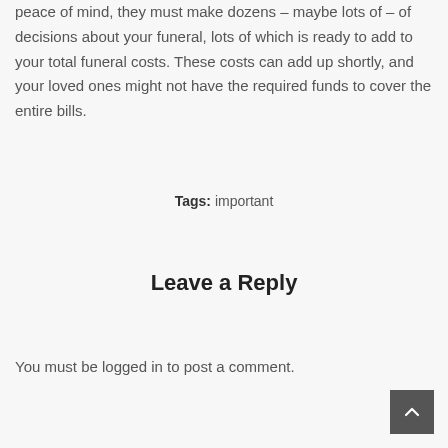peace of mind, they must make dozens – maybe lots of – of decisions about your funeral, lots of which is ready to add to your total funeral costs. These costs can add up shortly, and your loved ones might not have the required funds to cover the entire bills.
Tags: important
Leave a Reply
You must be logged in to post a comment.